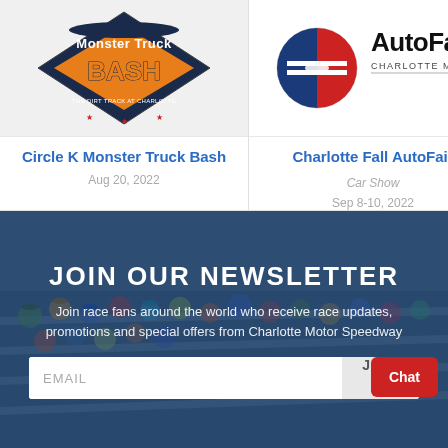[Figure (logo): Circle K Monster Truck Bash logo with orange and dark blue diamond shape]
Circle K Monster Truck Bash
Aug 20, 2022
[Figure (logo): AutoFair Charlotte Motor Speedway logo with red/blue circular emblem]
Charlotte Fall AutoFair
Car Show
Sep 8-10, 2022
Be
A
JOIN OUR NEWSLETTER
Join race fans around the world who receive race updates, promotions and special offers from Charlotte Motor Speedway
EMAIL
JOIN